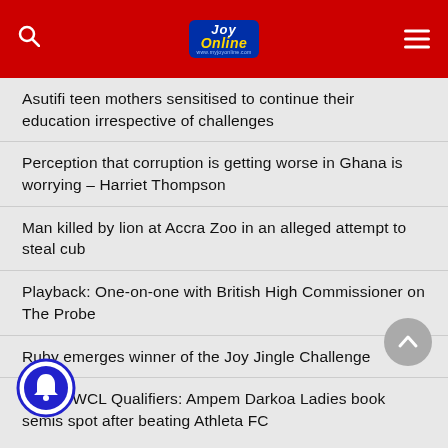Joy Online
Asutifi teen mothers sensitised to continue their education irrespective of challenges
Perception that corruption is getting worse in Ghana is worrying – Harriet Thompson
Man killed by lion at Accra Zoo in an alleged attempt to steal cub
Playback: One-on-one with British High Commissioner on The Probe
Ruby emerges winner of the Joy Jingle Challenge
WAFU WCL Qualifiers: Ampem Darkoa Ladies book semis spot after beating Athleta FC